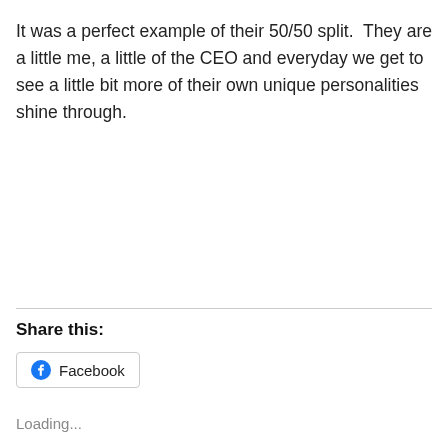It was a perfect example of their 50/50 split.  They are a little me, a little of the CEO and everyday we get to see a little bit more of their own unique personalities shine through.
Share this:
[Figure (other): Facebook share button with Facebook logo icon]
Loading...